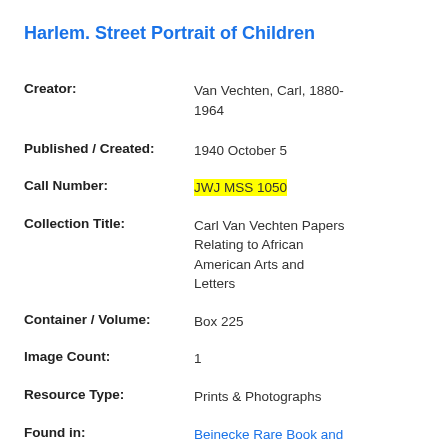Harlem. Street Portrait of Children
Creator: Van Vechten, Carl, 1880-1964
Published / Created: 1940 October 5
Call Number: JWJ MSS 1050
Collection Title: Carl Van Vechten Papers Relating to African American Arts and Letters
Container / Volume: Box 225
Image Count: 1
Resource Type: Prints & Photographs
Found in: Beinecke Rare Book and Manuscript Library > Harlem. Street Portrait of Children